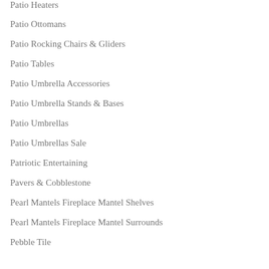Patio Heaters
Patio Ottomans
Patio Rocking Chairs & Gliders
Patio Tables
Patio Umbrella Accessories
Patio Umbrella Stands & Bases
Patio Umbrellas
Patio Umbrellas Sale
Patriotic Entertaining
Pavers & Cobblestone
Pearl Mantels Fireplace Mantel Shelves
Pearl Mantels Fireplace Mantel Surrounds
Pebble Tile